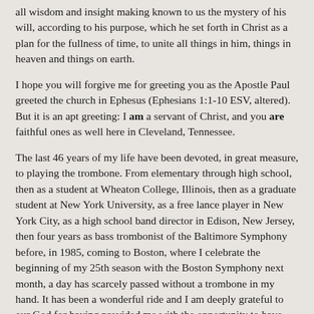all wisdom and insight making known to us the mystery of his will, according to his purpose, which he set forth in Christ as a plan for the fullness of time, to unite all things in him, things in heaven and things on earth.
I hope you will forgive me for greeting you as the Apostle Paul greeted the church in Ephesus (Ephesians 1:1-10 ESV, altered). But it is an apt greeting: I am a servant of Christ, and you are faithful ones as well here in Cleveland, Tennessee.
The last 46 years of my life have been devoted, in great measure, to playing the trombone. From elementary through high school, then as a student at Wheaton College, Illinois, then as a graduate student at New York University, as a free lance player in New York City, as a high school band director in Edison, New Jersey, then four years as bass trombonist of the Baltimore Symphony before, in 1985, coming to Boston, where I celebrate the beginning of my 25th season with the Boston Symphony next month, a day has scarcely passed without a trombone in my hand. It has been a wonderful ride and I am deeply grateful to our God for having provided me with the opportunity to have such a life as this. I am also grateful for this period of sabbatical from the Boston Symphony which is affording me, this spring, the opportunity to travel around the world and interact with students, faculty and other performers such as I have been doing here at Lee University